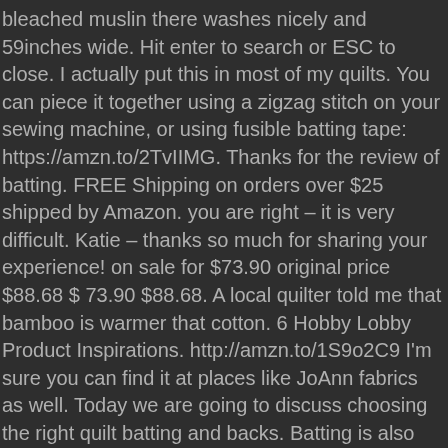bleached muslin there washes nicely and 59inches wide. Hit enter to search or ESC to close. I actually put this in most of my quilts. You can piece it together using a zigzag stitch on your sewing machine, or using fusible batting tape: https://amzn.to/2TvIIMG. Thanks for the review of batting. FREE Shipping on orders over $25 shipped by Amazon. you are right – it is very difficult. Katie – thanks so much for sharing your experience! on sale for $73.90 original price $88.68 $ 73.90 $88.68. A local quilter told me that bamboo is warmer that cotton. 6 Hobby Lobby Product Inspirations. http://amzn.to/1S9o2C9 I'm sure you can find it at places like JoAnn fabrics as well. Today we are going to discuss choosing the right quilt batting and backs. Batting is also available to purchase in bulk by the entire bolt – which is a great option if you use a lot of batting. Has anyone ever heard of a Marti Michelle Club. For larger quilts you will need to piece your back – meaning you will need to sew yardage together. We recommend that the quilt maker spend some time learning about this product before